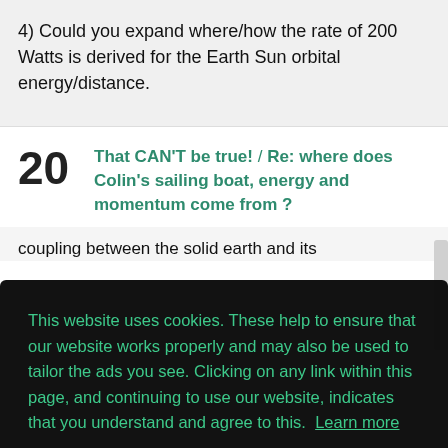4) Could you expand where/how the rate of 200 Watts is derived for the Earth Sun orbital energy/distance.
20  That CAN'T be true! / Re: where does Colin's sailing boat, energy and momentum come from ?
This website uses cookies. These help to ensure that our website works properly and may also be used to tailor the ads you see. Clicking on any link within this page, and continuing to use our website, indicates that you understand and agree to this.  Learn more
Got it!
coupling between the solid earth and its